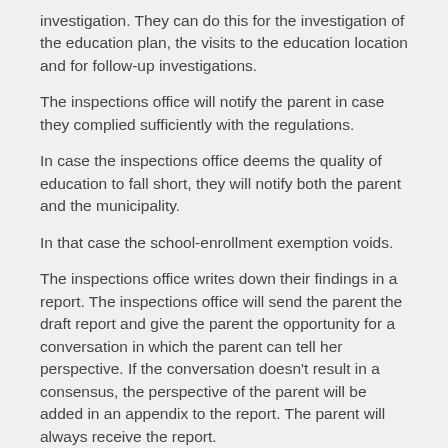investigation. They can do this for the investigation of the education plan, the visits to the education location and for follow-up investigations.
The inspections office will notify the parent in case they complied sufficiently with the regulations.
In case the inspections office deems the quality of education to fall short, they will notify both the parent and the municipality.
In that case the school-enrollment exemption voids.
The inspections office writes down their findings in a report. The inspections office will send the parent the draft report and give the parent the opportunity for a conversation in which the parent can tell her perspective. If the conversation doesn't result in a consensus, the perspective of the parent will be added in an appendix to the report. The parent will always receive the report.
The report will not be made public.